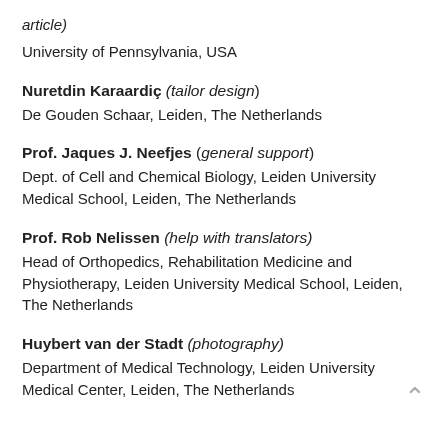article)
University of Pennsylvania, USA
Nuretdin Karaardiç (tailor design)
De Gouden Schaar, Leiden, The Netherlands
Prof. Jaques J. Neefjes (general support)
Dept. of Cell and Chemical Biology, Leiden University Medical School, Leiden, The Netherlands
Prof. Rob Nelissen (help with translators)
Head of Orthopedics, Rehabilitation Medicine and Physiotherapy, Leiden University Medical School, Leiden, The Netherlands
Huybert van der Stadt (photography)
Department of Medical Technology, Leiden University Medical Center, Leiden, The Netherlands